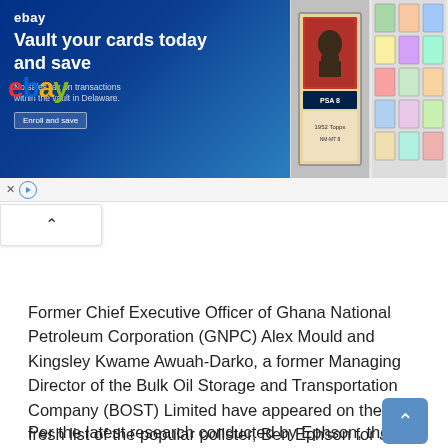[Figure (screenshot): eBay advertisement banner: 'Vault your cards today and save. No sales tax on transactions within the vault in Delaware. Enroll and save.' With images of graded trading cards.]
Former Chief Executive Officer of Ghana National Petroleum Corporation (GNPC) Alex Mould and Kingsley Kwame Awuah-Darko, a former Managing Director of the Bulk Oil Storage and Transportation Company (BOST) Limited have appeared on the fresh list of the popular pollster, Ben Ephson for John Mahama's running mate.
Per the latest research conducted by Ephson, these two replaced senior figures, Kwesi Ahwoi and Kwesi Botchway in a long-list of candidates that was whittled down to just five in